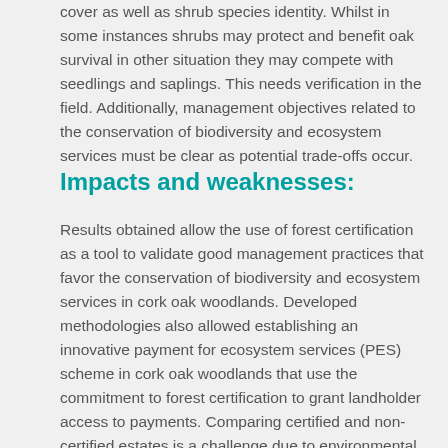cover as well as shrub species identity. Whilst in some instances shrubs may protect and benefit oak survival in other situation they may compete with seedlings and saplings. This needs verification in the field. Additionally, management objectives related to the conservation of biodiversity and ecosystem services must be clear as potential trade-offs occur.
Impacts and weaknesses:
Results obtained allow the use of forest certification as a tool to validate good management practices that favor the conservation of biodiversity and ecosystem services in cork oak woodlands. Developed methodologies also allowed establishing an innovative payment for ecosystem services (PES) scheme in cork oak woodlands that use the commitment to forest certification to grant landholder access to payments. Comparing certified and non-certified estates is a challenge due to environmental and management variability among estates.